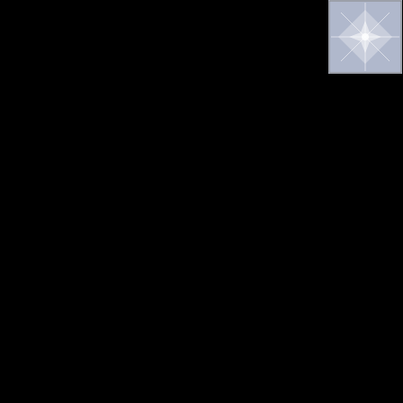[Figure (illustration): Small square avatar image with a white geometric/kaleidoscope pattern on a light blue-gray background]
Years ago I worked as a technical producer at WPLP later to be known as WTKN. I had the honor of producing the Bob Lassiter show among others. Bob was a talent such as